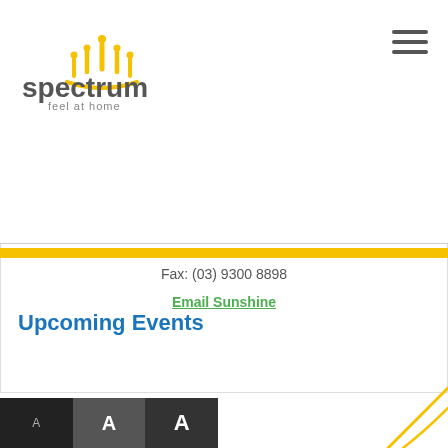[Figure (logo): Spectrum 'feel at home' logo with yellow hand/people icon and grey text]
Fax: (03) 9300 8898
Email Sunshine
Upcoming Events
[Figure (illustration): Decorative yellow curved line in bottom right corner]